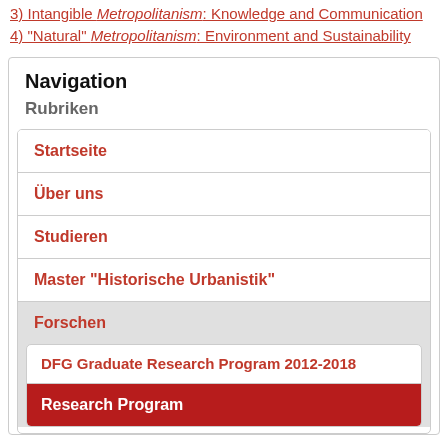3) Intangible Metropolitanism: Knowledge and Communication
4) "Natural" Metropolitanism: Environment and Sustainability
Navigation
Rubriken
Startseite
Über uns
Studieren
Master "Historische Urbanistik"
Forschen
DFG Graduate Research Program 2012-2018
Research Program